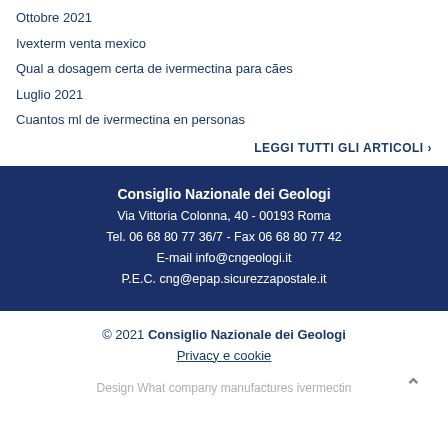Ottobre 2021
Ivexterm venta mexico
Qual a dosagem certa de ivermectina para cães
Luglio 2021
Cuantos ml de ivermectina en personas
LEGGI TUTTI GLI ARTICOLI ›
Consiglio Nazionale dei Geologi
Via Vittoria Colonna, 40 - 00193 Roma
Tel. 06 68 80 77 36/7 - Fax 06 68 80 77 42
E-mail info@cngeologi.it
P.E.C. cng@epap.sicurezzapostale.it
© 2021 Consiglio Nazionale dei Geologi
Privacy e cookie
Design What company manufactures ivermectin